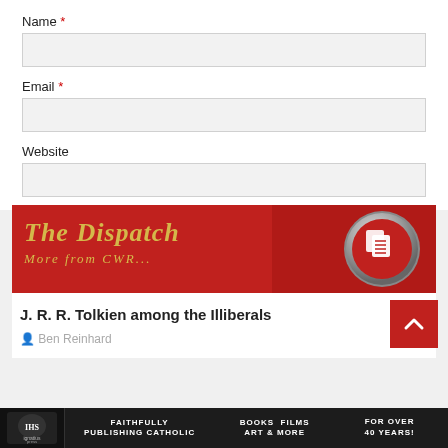Name *
Email *
Website
POST COMMENT
[Figure (illustration): The Dispatch - More from CWR... banner with red background, gold text, and document icon]
J. R. R. Tolkien among the Illiberals
Ben Reinhard
FAITHFULLY PUBLISHING CATHOLIC   BOOKS FILMS ART & MORE   FOR OVER 40 YEARS!